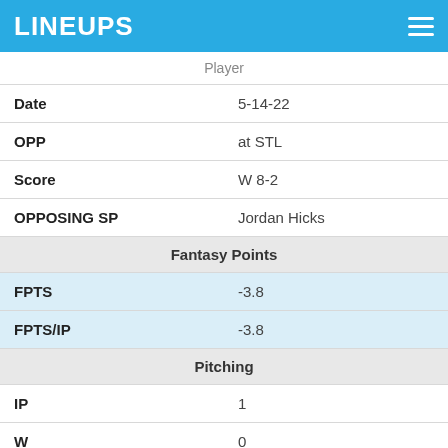LINEUPS
|  | Player |
| --- | --- |
| Date | 5-14-22 |
| OPP | at STL |
| Score | W 8-2 |
| OPPOSING SP | Jordan Hicks |
| Fantasy Points |  |
| FPTS | -3.8 |
| FPTS/IP | -3.8 |
| Pitching |  |
| IP | 1 |
| W | 0 |
| L | 0 |
| SV | 0 |